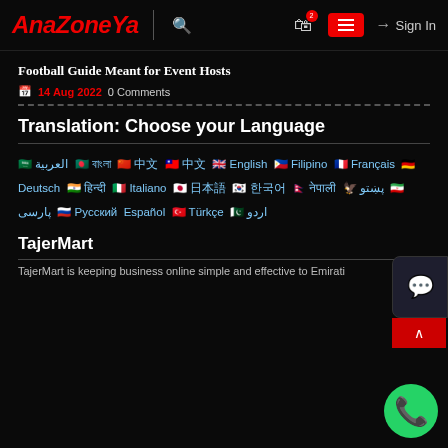AnaZoneYa — Search | Cart | Menu | Sign In
Football Guide Meant for Event Hosts
14 Aug 2022  0 Comments
Translation: Choose your Language
🇸🇦 العربية  🇧🇩 বাংলা  🇨🇳 中文  🇹🇼 中文  🇬🇧 English  🇵🇭 Filipino  🇫🇷 Français  🇩🇪 Deutsch  🇮🇳 हिन्दी  🇮🇹 Italiano  🇯🇵 日本語  🇰🇷 한국어  🇳🇵 नेपाली  🐦 پښتو  🇮🇷 پارسی  🇷🇺 Русский  Español  🇹🇷 Türkçe  🇵🇰 اردو
TajerMart
TajerMart is keeping business online simple and effective to Emirati